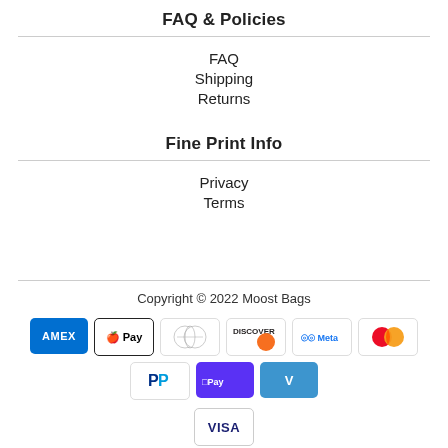FAQ & Policies
FAQ
Shipping
Returns
Fine Print Info
Privacy
Terms
Copyright © 2022 Moost Bags
[Figure (infographic): Payment method icons: American Express, Apple Pay, Diners Club, Discover, Meta Pay, Mastercard, PayPal, Shop Pay, Venmo, Visa]